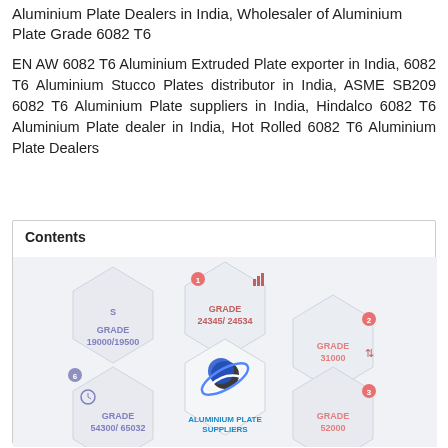Aluminium Plate Dealers in India, Wholesaler of Aluminium Plate Grade 6082 T6
EN AW 6082 T6 Aluminium Extruded Plate exporter in India, 6082 T6 Aluminium Stucco Plates distributor in India, ASME SB209 6082 T6 Aluminium Plate suppliers in India, Hindalco 6082 T6 Aluminium Plate dealer in India, Hot Rolled 6082 T6 Aluminium Plate Dealers
[Figure (infographic): Hexagonal infographic showing Aluminium Plate Suppliers with Grade categories: GRADE 24345/24534 (top, with bar chart icon), GRADE 31000 (right), GRADE 52000 (bottom right), GRADE 54300/65032 (bottom left, with clock icon), GRADE 19000/19500 (left), and a central logo with S and planet graphic labeled ALUMINIUM PLATE SUPPLIERS]